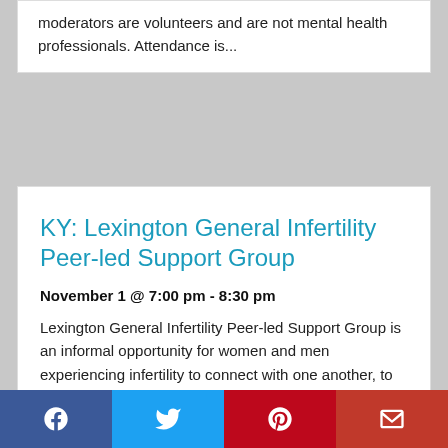moderators are volunteers and are not mental health professionals. Attendance is...
KY: Lexington General Infertility Peer-led Support Group
November 1 @ 7:00 pm - 8:30 pm
Lexington General Infertility Peer-led Support Group is an informal opportunity for women and men experiencing infertility to connect with one another, to discuss their situations, and to...